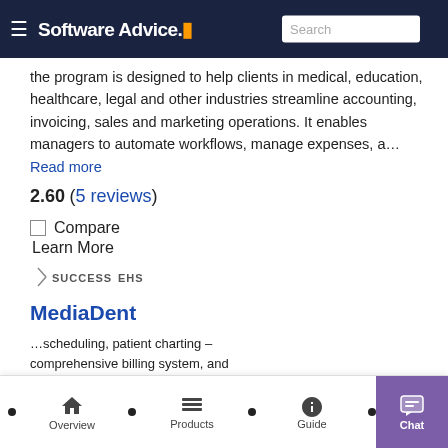Software Advice. Search
...the program is designed to help clients in medical, education, healthcare, legal and other industries streamline accounting, invoicing, sales and marketing operations. It enables managers to automate workflows, manage expenses, a... Read more
2.60 (5 reviews)
Compare
Learn More
[Figure (logo): SuccessEHS logo with arrow icon and stylized text]
MediaDent
• overview • Products • Guide • Chat
...scheduling, patient charting – comprehensive billing system, and